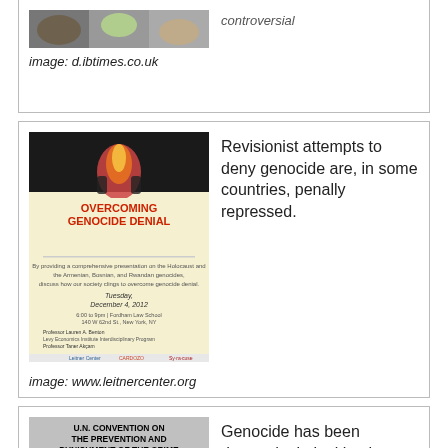[Figure (photo): Partial image at top of page, cropped food/ingredients photo]
image: d.ibtimes.co.uk
[Figure (photo): Event poster for 'Overcoming Genocide Denial' conference at Leitner Center]
Revisionist attempts to deny genocide are, in some countries, penally repressed.
image: www.leitnercenter.org
[Figure (photo): U.N. Convention on the Prevention and Punishment of the Crime of Genocide 1948 document cover]
Genocide has been deemed criminal by the United Nations, as well as numerous individual nations.
image: www.theradiancefoundation.org